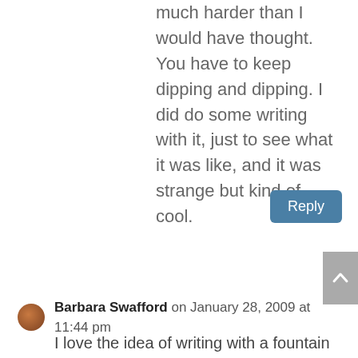much harder than I would have thought. You have to keep dipping and dipping. I did do some writing with it, just to see what it was like, and it was strange but kind of cool.
Reply
[Figure (illustration): Small circular user avatar photo of Barbara Swafford]
Barbara Swafford on January 28, 2009 at 11:44 pm
I love the idea of writing with a fountain pen. I use to love writing